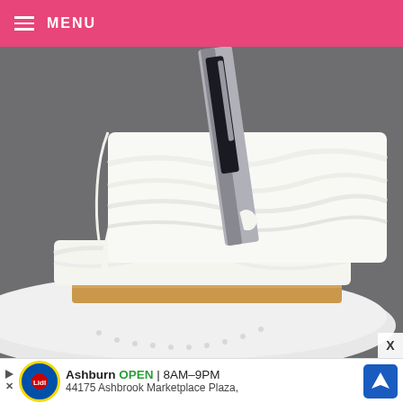≡ MENU
[Figure (photo): Close-up of a white frosted cake being iced with a flat metal spatula/knife on a white plate. The thick white cream frosting is being spread over multiple layers of cake, with golden cake layers visible at the bottom edge. The background is grey/blurred.]
X
Ashburn OPEN 8AM–9PM 44175 Ashbrook Marketplace Plaza,